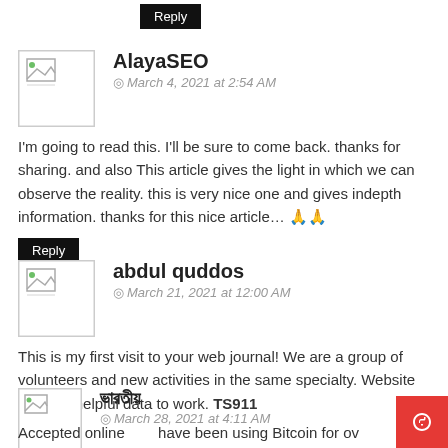Reply (button at top)
AlayaSEO
March 4, 2021 at 2:54 AM
I'm going to read this. I'll be sure to come back. thanks for sharing. and also This article gives the light in which we can observe the reality. this is very nice one and gives indepth information. thanks for this nice article… 🙏🙏
Reply
abdul quddos
March 21, 2021 at 12:00 AM
This is my first visit to your web journal! We are a group of volunteers and new activities in the same specialty. Website gave us helpful data to work. TS911
Reply
ভারতীয়
March 28, 2021 at 4:11 AM
Accepted online   have been using Bitcoin for ov…